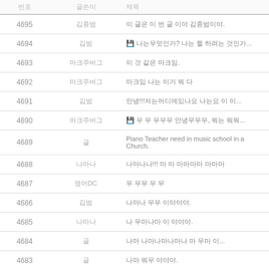| 번호 | 글쓴이 | 제목 |
| --- | --- | --- |
| 4695 | 김종범 | 이 글은 이 번 글 이야 김종범이야. |
| 4694 | 김범 | 💾 나는무엇인가? 나는 뭘 하려는 것인가... |
| 4693 | 마크주버그 | 이 것 같은 마크임. |
| 4692 | 마크주버그 | 마크임 나는 이거 뭐 다 |
| 4691 | 김범 | 안녕!!!저는어디에있나요 나는요 이 이... |
| 4690 | 마크주버그 | 💾 무 무 무무무 안녕무무무, 뭐는 뭐뭐... |
| 4689 | 글 | Piano Teacher need in music school in a Church. |
| 4688 | 나마나 | 나마나나!!! 마 마 마마마마 마마마 |
| 4687 | 영어DC | 무 무무 무 무 |
| 4686 | 김범 | 나마나 무무 이야야야. |
| 4685 | 나마나 | 나 무마나마 이 야야야. |
| 4684 | 글 | 나마 나마나마나마나 마 무마 이... |
| 4683 | 글 | 나마 뭐무 야야야. |